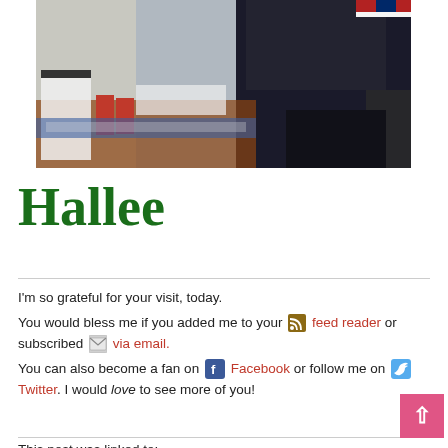[Figure (photo): Photograph of a person in dark clothing standing near a table with food items and a cake, taken at what appears to be a gathering or party.]
Hallee
I'm so grateful for your visit, today.
You would bless me if you added me to your [RSS icon] feed reader or subscribed [email icon] via email.
You can also become a fan on [Facebook icon] Facebook or follow me on [Twitter icon] Twitter. I would love to see more of you!
This post was linked to: